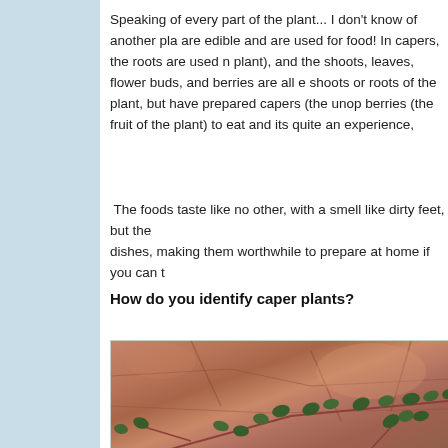Speaking of every part of the plant... I don't know of another pla are edible and are used for food! In capers, the roots are used n plant), and the shoots, leaves, flower buds, and berries are all e shoots or roots of the plant, but have prepared capers (the unop berries (the fruit of the plant) to eat and its quite an experience,
The foods taste like no other, with a smell like dirty feet, but the dishes, making them worthwhile to prepare at home if you can t
How do you identify caper plants?
[Figure (photo): Photo of a caper plant growing among large reddish-brown stone rocks, with dark green small oval leaves on reddish stems spreading across the rocky surface.]